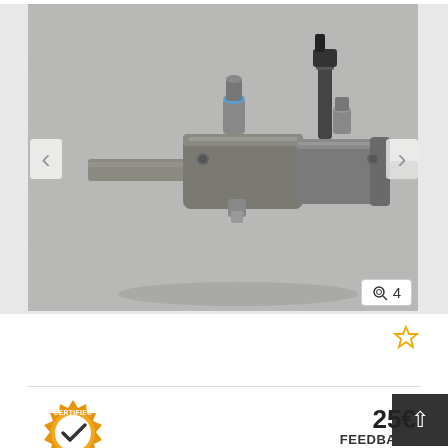[Figure (photo): Photo of a Festo ADVU-32-30-PA compact pneumatic cylinder with fittings, shown on a grey surface. Navigation arrows on left and right sides. Image count badge showing magnifier icon and '4' in bottom right corner.]
compact cylinder
Festo  ADVU-32-30-PA
[Figure (logo): Certified Dealer badge - a gold/orange gear shape with 'CERTIFIED' text at top, 'DEALER' text at bottom, and a checkmark in the center circle]
25€
FEEDBACK
Fixed price plus VAT